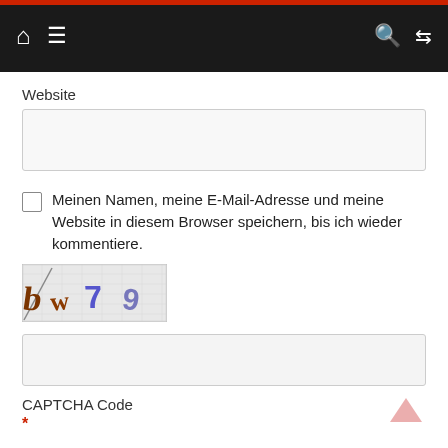Navigation bar with home, menu, search, and shuffle icons
Website
Meinen Namen, meine E-Mail-Adresse und meine Website in diesem Browser speichern, bis ich wieder kommentiere.
[Figure (other): CAPTCHA image showing distorted characters: bW7 9]
CAPTCHA Code
*